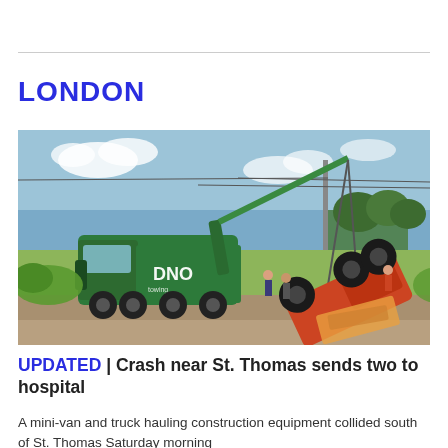LONDON
[Figure (photo): A large green DNO tow truck with a crane arm extended, lifting a crashed orange/red truck that is overturned in a ditch beside a rural field. Several people are visible near the vehicles. Power lines and trees are visible in the background under a partly cloudy sky.]
UPDATED | Crash near St. Thomas sends two to hospital
A mini-van and truck hauling construction equipment collided south of St. Thomas Saturday morning